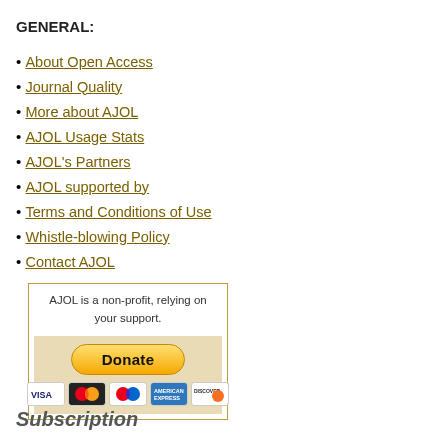GENERAL:
About Open Access
Journal Quality
More about AJOL
AJOL Usage Stats
AJOL's Partners
AJOL supported by
Terms and Conditions of Use
Whistle-blowing Policy
Contact AJOL
[Figure (other): PayPal Donate button with Visa, Mastercard, Mastercard (red variant), American Express, and Discover card logos inside a beige box. Text reads: AJOL is a non-profit, relying on your support.]
Subscription